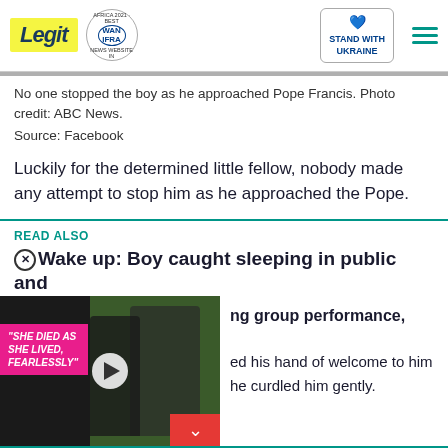Legit | WAN IFRA 2021 Best News Website in Africa | Stand with Ukraine
No one stopped the boy as he approached Pope Francis. Photo credit: ABC News.
Source: Facebook
Luckily for the determined little fellow, nobody made any attempt to stop him as he approached the Pope.
READ ALSO
Wake up: Boy caught sleeping in public and during group performance,
[Figure (screenshot): Video thumbnail with pink banner reading "SHE DIED AS SHE LIVED, FEARLESSLY" with play button and down arrow button]
ed his hand of welcome to him he curdled him gently.
[Figure (screenshot): Bottom advertisement banner showing Hold and Move app with question and close buttons]